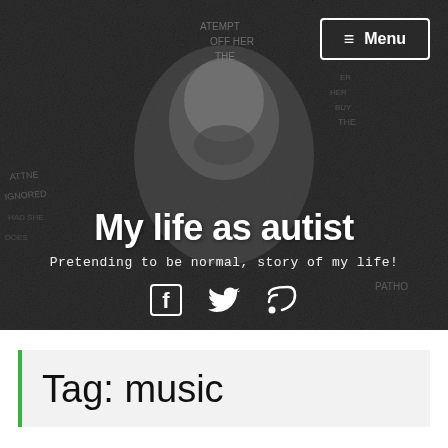[Figure (photo): Black and white hero image of a person with closed eyes surrounded by handwritten text on walls, used as blog header background]
≡ Menu
My life as autist
Pretending to be normal, story of my life!
[Figure (infographic): Social media icons: Facebook, Twitter, RSS feed]
Tag: music